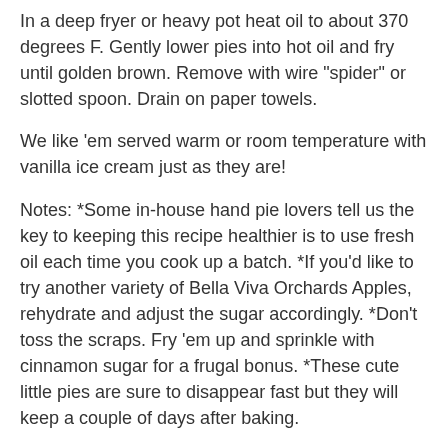In a deep fryer or heavy pot heat oil to about 370 degrees F. Gently lower pies into hot oil and fry until golden brown. Remove with wire "spider" or slotted spoon. Drain on paper towels.
We like 'em served warm or room temperature with vanilla ice cream just as they are!
Notes: *Some in-house hand pie lovers tell us the key to keeping this recipe healthier is to use fresh oil each time you cook up a batch. *If you'd like to try another variety of Bella Viva Orchards Apples, rehydrate and adjust the sugar accordingly. *Don't toss the scraps. Fry 'em up and sprinkle with cinnamon sugar for a frugal bonus. *These cute little pies are sure to disappear fast but they will keep a couple of days after baking.
Tags: Raisins
Related Posts